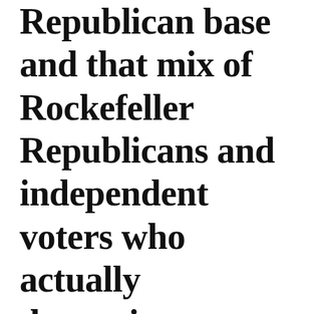Republican base and that mix of Rockefeller Republicans and independent voters who actually determine winning